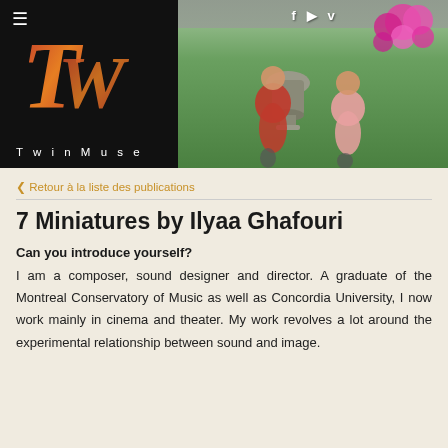[Figure (photo): TwinMuse website header banner with logo on black background on the left showing stylized 'TW' letters in red-orange gradient and 'TwinMuse' text. Right side shows a photo of two women in red/pink dresses sitting outdoors near a decorative stone urn with pink flowers, green grass background. Social media icons (f, play, v) visible at top.]
< Retour à la liste des publications
7 Miniatures by Ilyaa Ghafouri
Can you introduce yourself?
I am a composer, sound designer and director. A graduate of the Montreal Conservatory of Music as well as Concordia University, I now work mainly in cinema and theater. My work revolves a lot around the experimental relationship between sound and image.